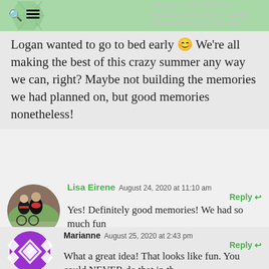[Figure (screenshot): Blog comment section showing a green navigation header with search and menu icons, and two avatar images for commenters Lisa Eirene and Marianne]
That looks like so. much. fun. What a great idea and how cute that Logan wanted to go to bed early 😊 We're all making the best of this crazy summer any way we can, right? Maybe not building the memories we had planned on, but good memories nonetheless!
Lisa Eirene  August 24, 2020 at 11:10 am
Reply
Yes! Definitely good memories! We had so much fun
Marianne  August 25, 2020 at 2:43 pm
Reply
What a great idea! That looks like fun. You could NEVER do that in th